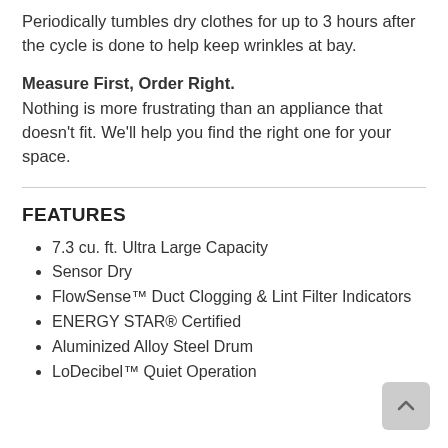Periodically tumbles dry clothes for up to 3 hours after the cycle is done to help keep wrinkles at bay.
Measure First, Order Right.
Nothing is more frustrating than an appliance that doesn't fit. We'll help you find the right one for your space.
FEATURES
7.3 cu. ft. Ultra Large Capacity
Sensor Dry
FlowSense™ Duct Clogging & Lint Filter Indicators
ENERGY STAR® Certified
Aluminized Alloy Steel Drum
LoDecibel™ Quiet Operation